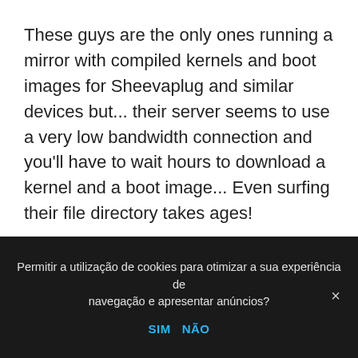These guys are the only ones running a mirror with compiled kernels and boot images for Sheevaplug and similar devices but... their server seems to use a very low bandwidth connection and you'll have to wait hours to download a kernel and a boot image... Even surfing their file directory takes ages!
The Unknown...
Debian ISC DHCP Server
Permitir a utilização de cookies para otimizar a sua experiência de navegação e apresentar anúncios? SIM NÃO